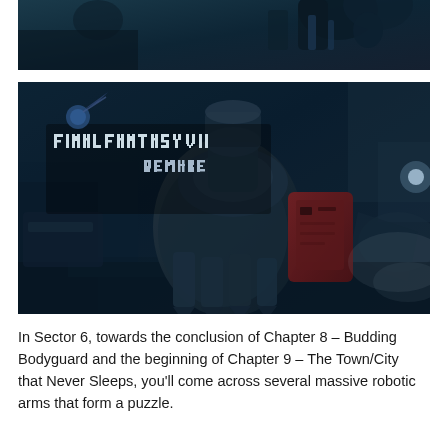[Figure (screenshot): Partial screenshot from Final Fantasy VII Remake showing dark industrial/mechanical environment from above]
[Figure (screenshot): Screenshot from Final Fantasy VII Remake showing a large robotic arm in a dark industrial setting with the Final Fantasy VII Remake logo overlay in the top-left corner]
In Sector 6, towards the conclusion of Chapter 8 – Budding Bodyguard and the beginning of Chapter 9 – The Town/City that Never Sleeps, you'll come across several massive robotic arms that form a puzzle.